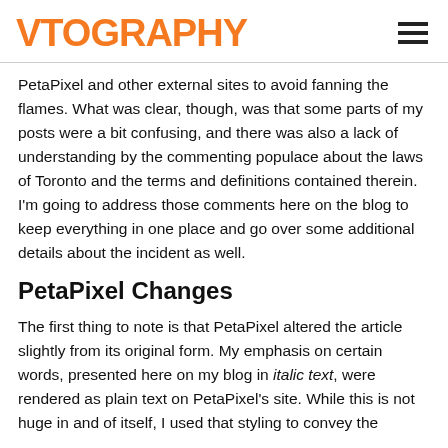VTOGRAPHY
PetaPixel and other external sites to avoid fanning the flames. What was clear, though, was that some parts of my posts were a bit confusing, and there was also a lack of understanding by the commenting populace about the laws of Toronto and the terms and definitions contained therein. I'm going to address those comments here on the blog to keep everything in one place and go over some additional details about the incident as well.
PetaPixel Changes
The first thing to note is that PetaPixel altered the article slightly from its original form. My emphasis on certain words, presented here on my blog in italic text, were rendered as plain text on PetaPixel's site. While this is not huge in and of itself, I used that styling to convey the